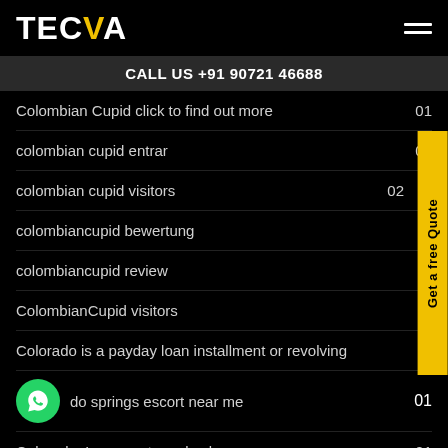TECVA
CALL US +91 90721 46688
Colombian Cupid click to find out more  01
colombian cupid entrar  01
colombian cupid visitors  02
colombiancupid bewertung
colombiancupid review
ColombianCupid visitors
Colorado is a payday loan installment or revolving
colorado springs escort near me  01
Colorado_Longmont payday loans  01
colorado springs escort service  01